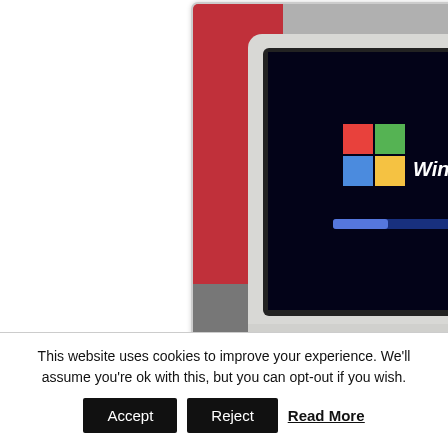[Figure (photo): A CRT monitor displaying the Windows XP loading screen with the Windows logo and progress bar, photographed from a slight angle. White bezel monitor in a room setting.]
Many users have been looking for a way they can keep Windows XP around, without relying on it for their day to day computing tasks. One way to do this is to use a virtual machine, but what does this mean, and is this approach right for you?
read more
This website uses cookies to improve your experience. We'll assume you're ok with this, but you can opt-out if you wish.
Accept
Reject
Read More